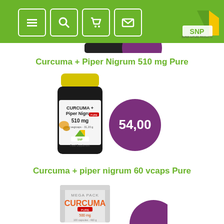SNP Super Nature Products - navigation header
Curcuma + Piper Nigrum 510 mg Pure
[Figure (photo): SNP supplement bottle labeled CURCUMA + Piper Nigrum 510 mg with yellow lid and SNP triangle logo, with purple price circle showing 54,00]
Curcuma + piper nigrum 60 vcaps Pure
[Figure (photo): SNP Mega Pack Curcuma supplement pouch showing 500 mg, partially visible, with partial purple price circle]